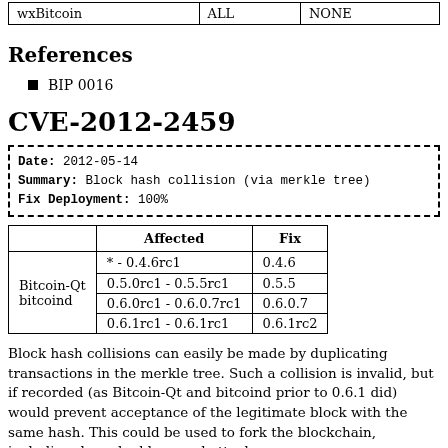|  |  |  |
| --- | --- | --- |
| wxBitcoin | ALL | NONE |
References
BIP 0016
CVE-2012-2459
Date: 2012-05-14
Summary: Block hash collision (via merkle tree)
Fix Deployment: 100%
|  | Affected | Fix |
| --- | --- | --- |
| Bitcoin-Qt
bitcoind | * - 0.4.6rc1
0.5.0rc1 - 0.5.5rc1
0.6.0rc1 - 0.6.0.7rc1
0.6.1rc1 - 0.6.1rc1 | 0.4.6
0.5.5
0.6.0.7
0.6.1rc2 |
Block hash collisions can easily be made by duplicating transactions in the merkle tree. Such a collision is invalid, but if recorded (as Bitcoin-Qt and bitcoind prior to 0.6.1 did) would prevent acceptance of the legitimate block with the same hash. This could be used to fork the blockchain, including deep double-spend attacks.